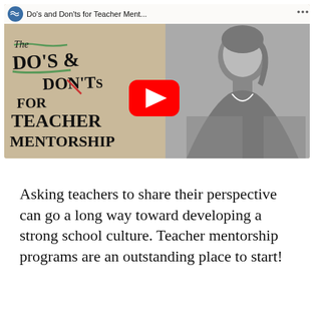[Figure (screenshot): YouTube video thumbnail showing 'The Do's and Don'ts for Teacher Mentorship' with handwritten-style chalk text on a tan background on the left side and a black-and-white photo of a woman on the right side, with a red YouTube play button overlay. The YouTube top bar reads 'Do's and Don'ts for Teacher Ment...']
Asking teachers to share their perspective can go a long way toward developing a strong school culture. Teacher mentorship programs are an outstanding place to start!